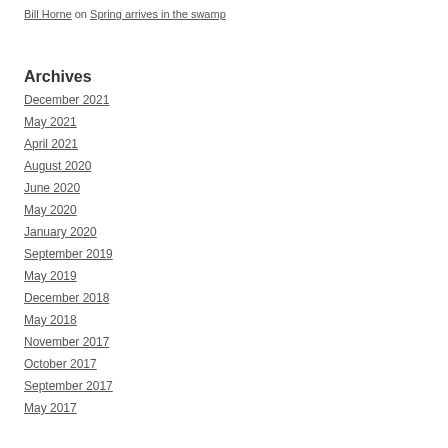Bill Horne on Spring arrives in the swamp
Archives
December 2021
May 2021
April 2021
August 2020
June 2020
May 2020
January 2020
September 2019
May 2019
December 2018
May 2018
November 2017
October 2017
September 2017
May 2017